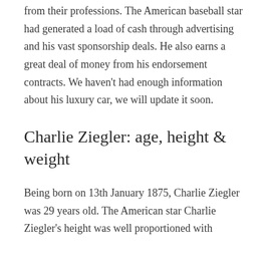from their professions. The American baseball star had generated a load of cash through advertising and his vast sponsorship deals. He also earns a great deal of money from his endorsement contracts. We haven't had enough information about his luxury car, we will update it soon.
Charlie Ziegler: age, height & weight
Being born on 13th January 1875, Charlie Ziegler was 29 years old. The American star Charlie Ziegler's height was well proportioned with